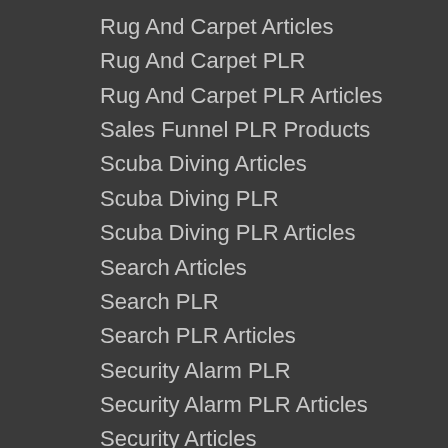Rug And Carpet Articles
Rug And Carpet PLR
Rug And Carpet PLR Articles
Sales Funnel PLR Products
Scuba Diving Articles
Scuba Diving PLR
Scuba Diving PLR Articles
Search Articles
Search PLR
Search PLR Articles
Security Alarm PLR
Security Alarm PLR Articles
Security Articles
Security PLR
Security PLR Articles
Self Confidence Articles